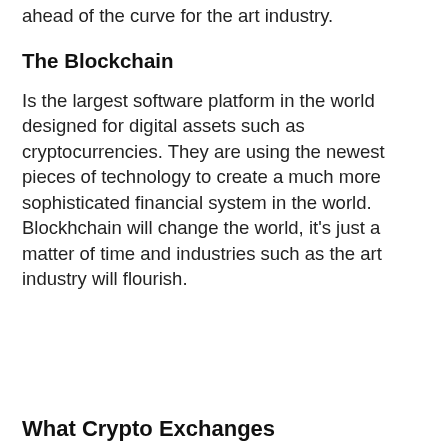ahead of the curve for the art industry.
The Blockchain
Is the largest software platform in the world designed for digital assets such as cryptocurrencies. They are using the newest pieces of technology to create a much more sophisticated financial system in the world. Blockhchain will change the world, it's just a matter of time and industries such as the art industry will flourish.
What Crypto Exchanges